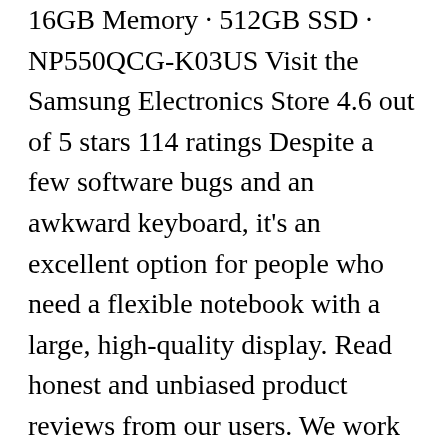16GB Memory · 512GB SSD · NP550QCG-K03US Visit the Samsung Electronics Store 4.6 out of 5 stars 114 ratings Despite a few software bugs and an awkward keyboard, it's an excellent option for people who need a flexible notebook with a large, high-quality display. Read honest and unbiased product reviews from our users. We work hard to protect your security and privacy. The keyboard and touchpad are especially sturdy. Is it too new of a product to have any of these types of products? Worse, the Samsung Settings app notes that "media control actions may not work, depending on the application." Read the complete review that can help you decide easily. Does anyone know